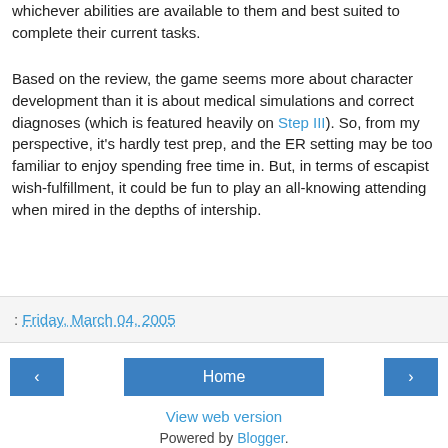whichever abilities are available to them and best suited to complete their current tasks.
Based on the review, the game seems more about character development than it is about medical simulations and correct diagnoses (which is featured heavily on Step III). So, from my perspective, it's hardly test prep, and the ER setting may be too familiar to enjoy spending free time in. But, in terms of escapist wish-fulfillment, it could be fun to play an all-knowing attending when mired in the depths of intership.
: Friday, March 04, 2005
< Home > View web version Powered by Blogger.